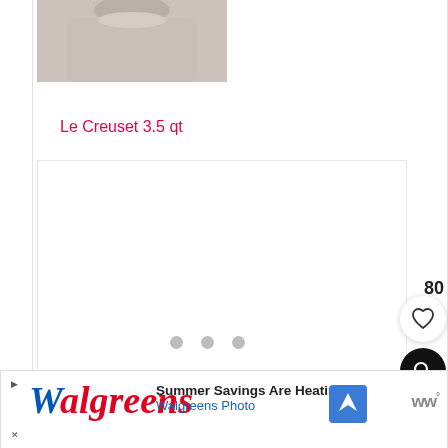[Figure (photo): Partial product photo of a Le Creuset 3.5 qt item, showing the top portion of a cookware piece against a light background.]
Le Creuset 3.5 qt
[Figure (other): White content loading area with three gray pagination dots, representing a loading or empty product detail card.]
80
[Figure (other): White circular button with a heart outline icon (favorite/wishlist button).]
[Figure (other): Black circular button with a magnifying glass search icon.]
[Figure (other): Advertisement banner: Walgreens Photo - Summer Savings Are Heating U, with Walgreens logo, navigation arrow icon, and brand icon.]